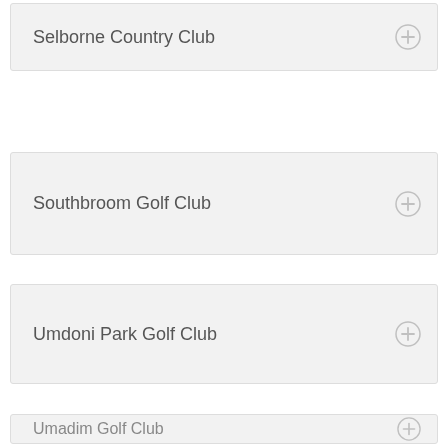Selborne Country Club
Southbroom Golf Club
Umdoni Park Golf Club
Umkomaas Golf Club
Wild Coast Sun Country Club
Umadim Golf Club